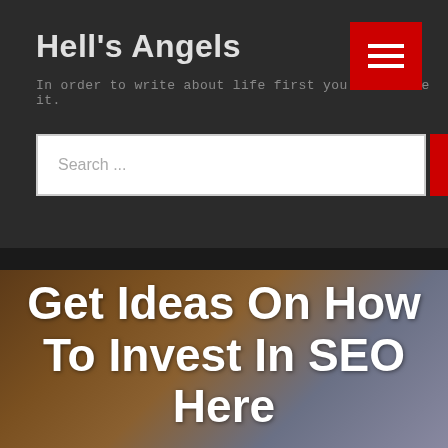Hell's Angels
In order to write about life first you must live it.
[Figure (screenshot): Red hamburger menu button with three white horizontal bars]
Search ...
Search
[Figure (photo): Background photo of a person wearing a brown jacket, partially visible]
Get Ideas On How To Invest In SEO Here